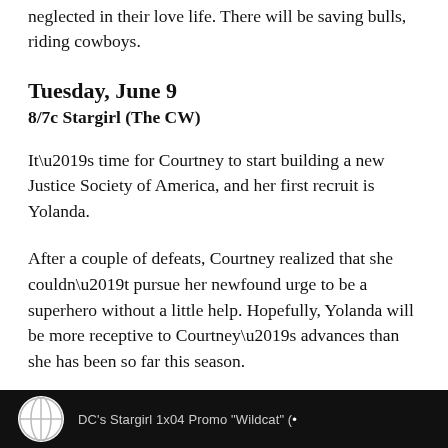neglected in their love life. There will be saving bulls, riding cowboys.
Tuesday, June 9
8/7c Stargirl (The CW)
It’s time for Courtney to start building a new Justice Society of America, and her first recruit is Yolanda.
After a couple of defeats, Courtney realized that she couldn’t pursue her newfound urge to be a superhero without a little help. Hopefully, Yolanda will be more receptive to Courtney’s advances than she has been so far this season.
[Figure (screenshot): Black bar at bottom showing DC's Stargirl 1x04 Promo 'Wildcat' thumbnail with logo]